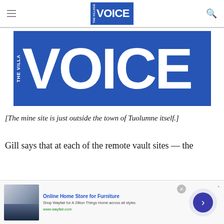the Village VOICE — navigation header
[Figure (logo): Village Voice large blue banner logo with 'VOICE' in large white letters on blue background]
[The mine site is just outside the town of Tuolumne itself.]
Gill says that at each of the remote vault sites — the
[Figure (other): Advertisement: Online Home Store for Furniture — Shop Wayfair for A Zillion Things Home across all styles — www.wayfair.com]